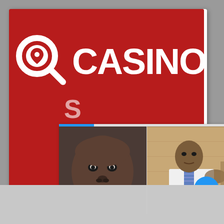[Figure (screenshot): Screenshot of a social media post showing a Casino.org logo (magnifier icon + CASINO text in white on red background) with two photos of Black men overlaid on top and a caption bar reading 'with domestic assault']